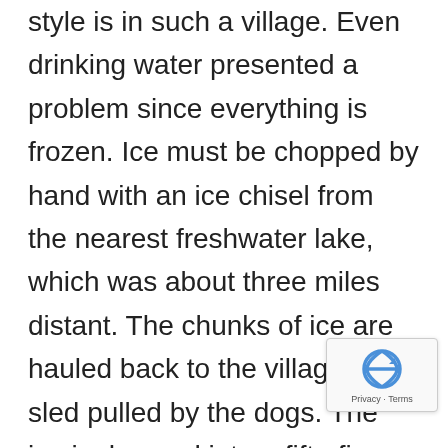style is in such a village. Even drinking water presented a problem since everything is frozen. Ice must be chopped by hand with an ice chisel from the nearest freshwater lake, which was about three miles distant. The chunks of ice are hauled back to the village on a sled pulled by the dogs. The ice is dumped into a fifty-five gallon oil drum sitting in the corner of the room. As the ice melts, more is added each day, giving a constant supply of drinking water. Water used to wash ones body is from melted snow, which may or may not be completely clean and safe. Life in the Arctic was harsh and cruel. I could go on all